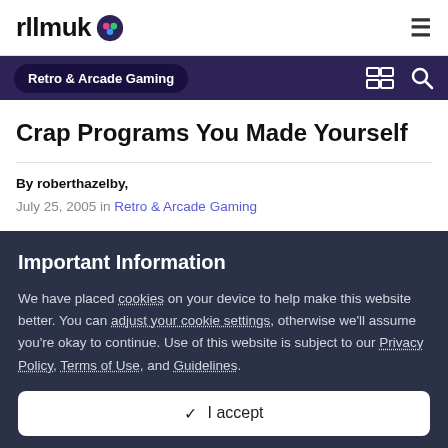rllmuk
Retro & Arcade Gaming
Crap Programs You Made Yourself
By roberthazelby, July 25, 2005 in Retro & Arcade Gaming
Important Information
We have placed cookies on your device to help make this website better. You can adjust your cookie settings, otherwise we'll assume you're okay to continue. Use of this website is subject to our Privacy Policy, Terms of Use, and Guidelines.
✔ I accept